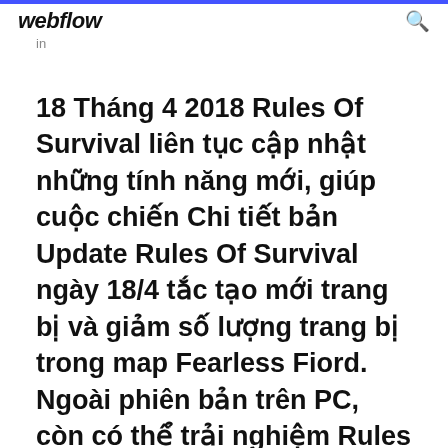webflow
in
18 Tháng 4 2018 Rules Of Survival liên tục cập nhật những tính năng mới, giúp cuộc chiến Chi tiết bản Update Rules Of Survival ngày 18/4 tắc tạo mới trang bị và giảm số lượng trang bị trong map Fearless Fiord. Ngoài phiên bản trên PC, còn có thể trải nghiệm Rules Of Survival Bản quyền © 2020 Download.vn .